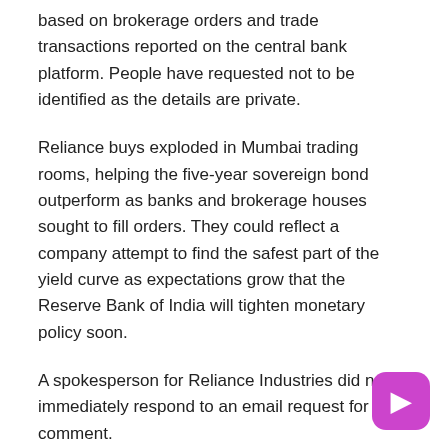based on brokerage orders and trade transactions reported on the central bank platform. People have requested not to be identified as the details are private.
Reliance buys exploded in Mumbai trading rooms, helping the five-year sovereign bond outperform as banks and brokerage houses sought to fill orders. They could reflect a company attempt to find the safest part of the yield curve as expectations grow that the Reserve Bank of India will tighten monetary policy soon.
A spokesperson for Reliance Industries did not immediately respond to an email request for comment.
The company, which was buying a mix of sovereign and local debt maturing in 2026, bought debt on the central bank's trading platform as well as through direct deals with holders, the companies said. residents.
Reliance had cash and equivalent assets worth Rs 2.6 trillion as of September 2021, according to its financial presentation. Last year, Reliance took a similar bet on corporate bonds of the same maturity